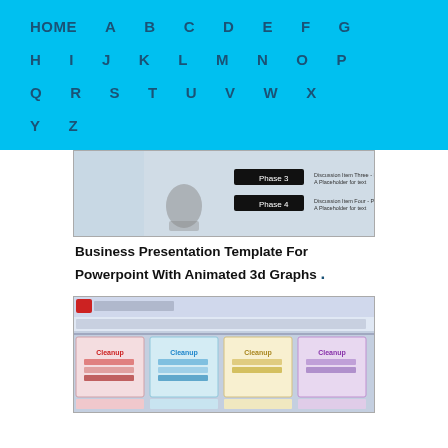HOME A B C D E F G H I J K L M N O P Q R S T U V W X Y Z
[Figure (screenshot): Screenshot of PowerPoint with animated business presentation showing phases with stick figure]
Business Presentation Template For Powerpoint With Animated 3d Graphs .
[Figure (screenshot): Screenshot of PowerPoint with gift box slide templates in various colors]